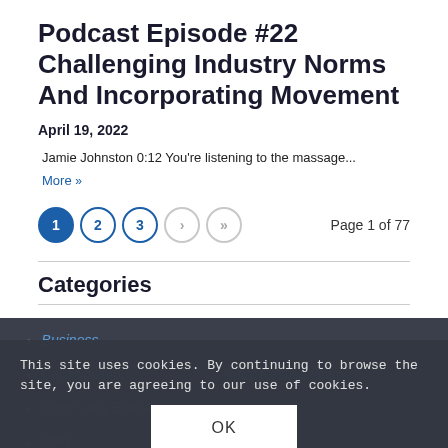Podcast Episode #22 Challenging Industry Norms And Incorporating Movement
April 19, 2022
Jamie Johnston 0:12 You're listening to the massage...
More »
1 2 3 › » Page 1 of 77
Categories
Business
This site uses cookies. By continuing to browse the site, you are agreeing to our use of cookies.
Cardiopulmonary Resuscitation
Continuing Education
CPR